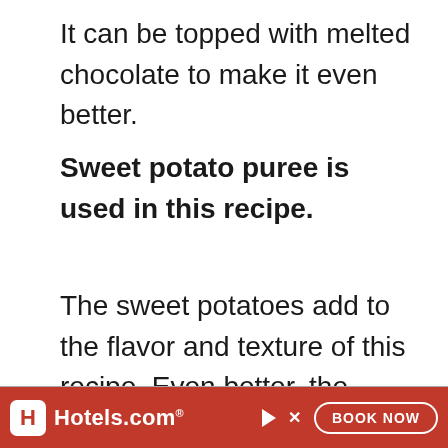It can be topped with melted chocolate to make it even better.
Sweet potato puree is used in this recipe.
The sweet potatoes add to the flavor and texture of this recipe. Even better, the sweet potatoes act as a binder so that eggs are not needed to bake this cake.
[Figure (other): Hotels.com advertisement banner with red background, Hotels.com logo on the left and a BOOK NOW button on the right]